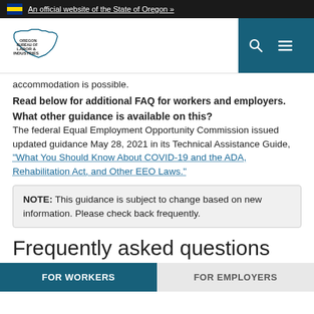An official website of the State of Oregon »
[Figure (logo): Oregon Bureau of Labor & Industries logo with Oregon state outline]
accommodation is possible.
Read below for additional FAQ for workers and employers.
What other guidance is available on this?
The federal Equal Employment Opportunity Commission issued updated guidance May 28, 2021 in its Technical Assistance Guide, "What You Should Know About COVID-19 and the ADA, Rehabilitation Act, and Other EEO Laws."
NOTE: This guidance is subject to change based on new information. Please check back frequently.
Frequently asked questions
FOR WORKERS | FOR EMPLOYERS